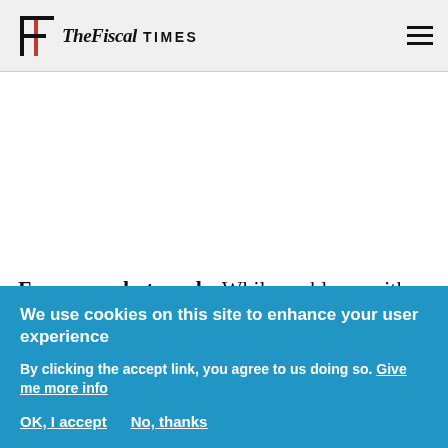THE FISCAL TIMES
Focus on what works While problems with the
We use cookies on this site to enhance your user experience
By clicking the accept link, you agree to us doing so. Give me more info
OK, I accept   No, thanks